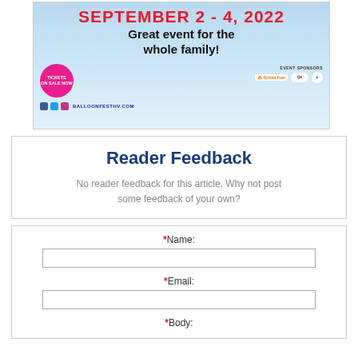[Figure (illustration): Advertisement for Balloon Fest HV, September 2-4, 2022. Features text 'Great event for the whole family!' with a pink 'Tickets on Sale Now' badge, social media icons, website balloonfesthv.com, event sponsors including Bottini Fuel and others, on a blue sky background.]
Reader Feedback
No reader feedback for this article. Why not post some feedback of your own?
*Name:
*Email:
*Body: